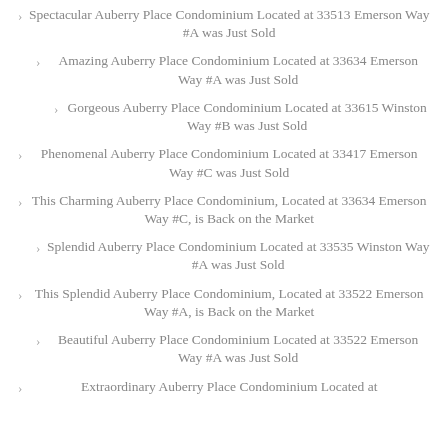Spectacular Auberry Place Condominium Located at 33513 Emerson Way #A was Just Sold
Amazing Auberry Place Condominium Located at 33634 Emerson Way #A was Just Sold
Gorgeous Auberry Place Condominium Located at 33615 Winston Way #B was Just Sold
Phenomenal Auberry Place Condominium Located at 33417 Emerson Way #C was Just Sold
This Charming Auberry Place Condominium, Located at 33634 Emerson Way #C, is Back on the Market
Splendid Auberry Place Condominium Located at 33535 Winston Way #A was Just Sold
This Splendid Auberry Place Condominium, Located at 33522 Emerson Way #A, is Back on the Market
Beautiful Auberry Place Condominium Located at 33522 Emerson Way #A was Just Sold
Extraordinary Auberry Place Condominium Located at